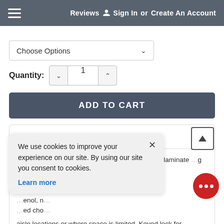Reviews  Sign In or Create An Account
Choose Options
Quantity: 1
ADD TO CART
DESCRIPTION
18.375" H x 24" W x 15.875" D Countertop wood laminate ... ng doors. ... size for on ... onal ch... enol, n... ed cho... aisle locations or where space is limited. Keyed lock for
We use cookies to improve your experience on our site. By using our site you consent to cookies. Learn more